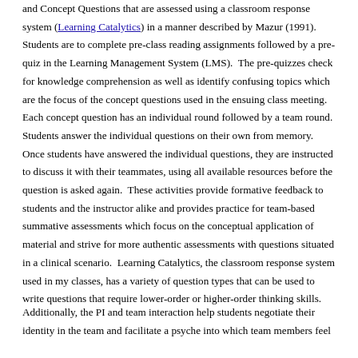and Concept Questions that are assessed using a classroom response system (Learning Catalytics) in a manner described by Mazur (1991). Students are to complete pre-class reading assignments followed by a pre-quiz in the Learning Management System (LMS).  The pre-quizzes check for knowledge comprehension as well as identify confusing topics which are the focus of the concept questions used in the ensuing class meeting.  Each concept question has an individual round followed by a team round.  Students answer the individual questions on their own from memory.  Once students have answered the individual questions, they are instructed to discuss it with their teammates, using all available resources before the question is asked again.  These activities provide formative feedback to students and the instructor alike and provides practice for team-based summative assessments which focus on the conceptual application of material and strive for more authentic assessments with questions situated in a clinical scenario.  Learning Catalytics, the classroom response system used in my classes, has a variety of question types that can be used to write questions that require lower-order or higher-order thinking skills.
Additionally, the PI and team interaction help students negotiate their identity in the team and facilitate a psyche into which team members feel